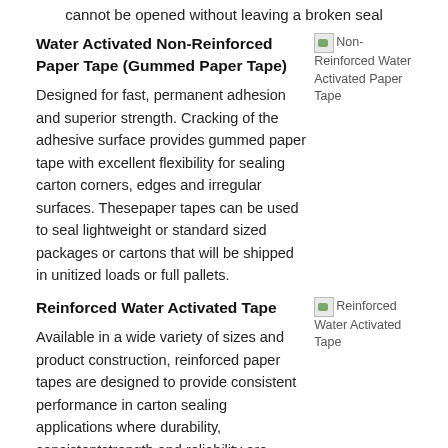cannot be opened without leaving a broken seal
Water Activated Non-Reinforced Paper Tape (Gummed Paper Tape)
[Figure (photo): Non-Reinforced Water Activated Paper Tape image placeholder]
Designed for fast, permanent adhesion and superior strength. Cracking of the adhesive surface provides gummed paper tape with excellent flexibility for sealing carton corners, edges and irregular surfaces. Thesepaper tapes can be used to seal lightweight or standard sized packages or cartons that will be shipped in unitized loads or full pallets.
Reinforced Water Activated Tape
[Figure (photo): Reinforced Water Activated Tape image placeholder]
Available in a wide variety of sizes and product construction, reinforced paper tapes are designed to provide consistent performance in carton sealing applications where durability, consistentstrength and reliability are required. Extra strong fiberglass yarns are bonded between the